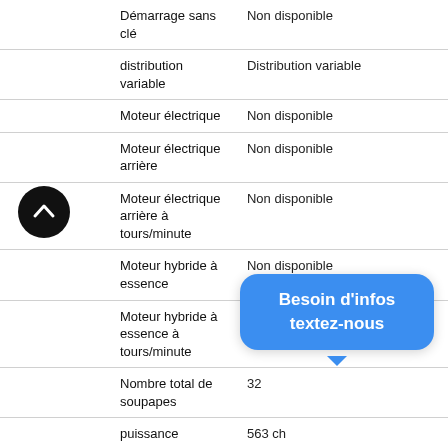| Caractéristique | Valeur |
| --- | --- |
| Démarrage sans clé | Non disponible |
| distribution variable | Distribution variable |
| Moteur électrique | Non disponible |
| Moteur électrique arrière | Non disponible |
| Moteur électrique arrière à tours/minute | Non disponible |
| Moteur hybride à essence | Non disponible |
| Moteur hybride à essence à tours/minute | Non disponible |
| Nombre total de soupapes | 32 |
| puissance | 563 ch |
| Puissance du moteur électrique à tours/minute | Non disponible |
| Régime limite | 5 500 tr/min |
| Régime limite de couple | 2 000 tr/min |
| soupapes et culbuterie |  |
| taux de compression |  |
| Type | Super sans plomb |
| Type de batterie du moteur électrique | Non disponible |
[Figure (other): Round dark button with upward chevron arrow (scroll to top button)]
Besoin d'infos textez-nous